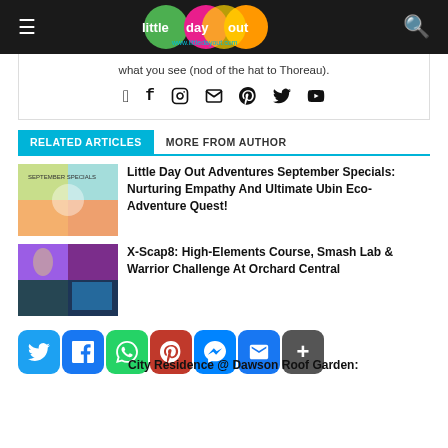little day out — www.littledayout.com
what you see (nod of the hat to Thoreau).
[Figure (other): Social media icons: Facebook, Instagram, Email, Pinterest, Twitter, YouTube]
RELATED ARTICLES | MORE FROM AUTHOR
[Figure (photo): Thumbnail for Little Day Out Adventures September Specials article]
Little Day Out Adventures September Specials: Nurturing Empathy And Ultimate Ubin Eco-Adventure Quest!
[Figure (photo): Thumbnail for X-Scap8 article showing activity photos in a 2x2 grid]
X-Scap8: High-Elements Course, Smash Lab & Warrior Challenge At Orchard Central
[Figure (other): Share bar with Twitter, Facebook, WhatsApp, Pinterest, Messenger, Email, More buttons]
City Residence @ Dawson Roof Garden: